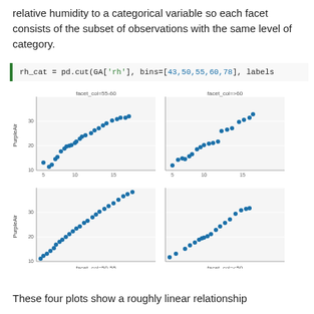relative humidity to a categorical variable so each facet consists of the subset of observations with the same level of category.
[Figure (scatter-plot): Four faceted scatter plots of PurpleAir vs EPA grouped by relative humidity category: 55-60, >60, 50-55, <50]
These four plots show a roughly linear relationship